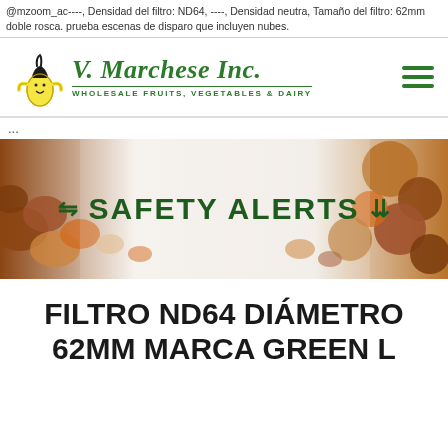@mzoom_ac----, Densidad del filtro: ND64, ----, Densidad neutra, Tamaño del filtro: 62mm doble rosca. prueba escenas de disparo que incluyen nubes.
[Figure (logo): V. Marchese Inc. logo with banana mascot character and subtitle WHOLESALE FRUITS, VEGETABLES & DAIRY]
...
[Figure (photo): Banner image with nuts and baked goods background with text SAFETY ALERTS in bold green with decorative arrows]
FILTRO ND64 DIÁMETRO 62MM MARCA GREEN L